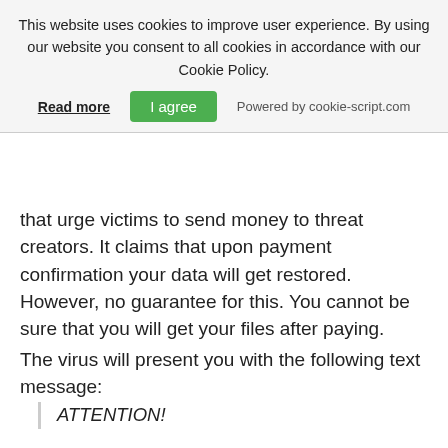This website uses cookies to improve user experience. By using our website you consent to all cookies in accordance with our Cookie Policy.
Read more   I agree   Powered by cookie-script.com
that urge victims to send money to threat creators. It claims that upon payment confirmation your data will get restored. However, no guarantee for this. You cannot be sure that you will get your files after paying.
The virus will present you with the following text message:
ATTENTION!

Don't worry, you can return all your files! All your files like photos, databases, documents and other important are encrypted with strongest encryption and unique key. The only method of recovering files is to